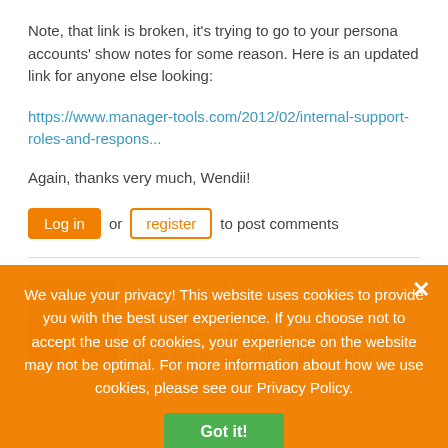Note, that link is broken, it's trying to go to your persona accounts' show notes for some reason. Here is an updated link for anyone else looking:
https://www.manager-tools.com/2012/02/internal-support-roles-and-respons...
Again, thanks very much, Wendii!
Log in or register to post comments
Submitted by wendii on Wednesday June 21st, 2017 5:41pm
Sorry!
I'm sorry about the link - I thought I fixed it.  Thank you for linking the right place for everyone.
We value your privacy! This website uses cookies to provide you with the best user experience. If you choose not to accept the use of cookies, your experience on the website may not be optimal. For more information about how we use cookies, please see our Privacy Policy.
Got it!